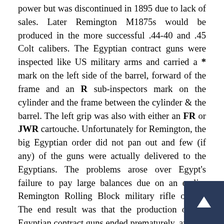power but was discontinued in 1895 due to lack of sales. Later Remington M1875s would be produced in the more successful .44-40 and .45 Colt calibers. The Egyptian contract guns were inspected like US military arms and carried a * mark on the left side of the barrel, forward of the frame and an R sub-inspectors mark on the cylinder and the frame between the cylinder & the barrel. The left grip was also with either an FR or JWR cartouche. Unfortunately for Remington, the big Egyptian order did not pan out and few (if any) of the guns were actually delivered to the Egyptians. The problems arose over Egypt's failure to pay large balances due on an earlier Remington Rolling Block military rifle orders. The end result was that the production of the Egyptian contract guns ended prematurely, and the existing guns were apparently sold on the open market to allow Remington to recoup their money. Despite the overwhelming competition from Colt, Remington did manage to receive a small contract from the US Government in 1883, to deliver 639 nickel plated M1875s to the Department of the Interior for use by the Indian Police. These guns were chambered in the much more popular and common .44-40 (44 WCF) caliber. Among the luminaries of the old west era who used the Remington M1875 was infamous outlaw Frank James, who preferred to carry one in .44-40, the same caliber as his Winchester rifle. Was noted as saying that it was important to "not